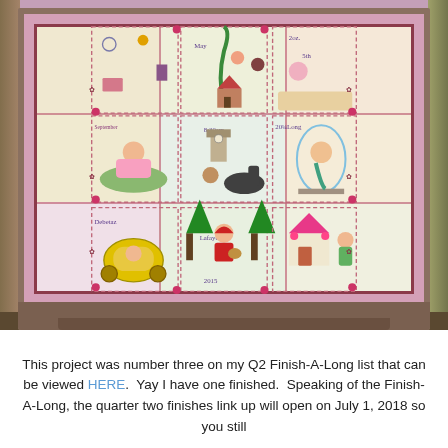[Figure (photo): A framed cross-stitch sampler displayed outdoors on the ground. The sampler has a pink/mauve fabric mat inside a dark wooden frame with a stand. The cross-stitch shows a 3x3 grid of scenes including fairy tale characters, children, animals, and text reading 'Lafayette', '2015', 'Louisiana', 'Debetaz', 'May 5th', '2oz', '20 1/4 Long', '8:30am', '22...'. The background shows leaves and dirt.]
This project was number three on my Q2 Finish-A-Long list that can be viewed HERE.  Yay I have one finished.  Speaking of the Finish-A-Long, the quarter two finishes link up will open on July 1, 2018 so you still